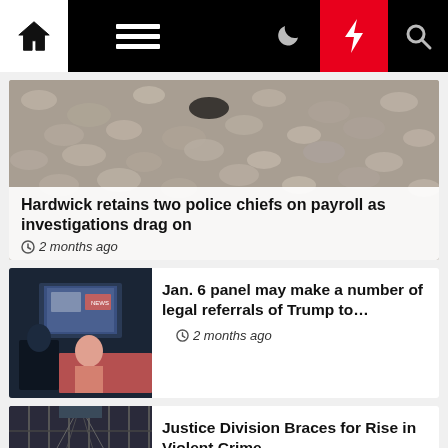Navigation bar with home, menu, dark mode, lightning, and search icons
Hardwick retains two police chiefs on payroll as investigations drag on
2 months ago
Jan. 6 panel may make a number of legal referrals of Trump to…
2 months ago
Justice Division Braces for Rise in Violent Crime
2 months ago
Cybercrime legal guidelines want pressing change: Mumbai…
2 months ago